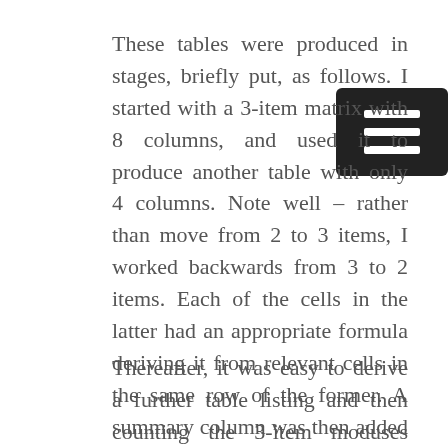These tables were produced in stages, briefly put, as follows. I started with a 3-item ma[trix] with 8 columns, and used it to produce ano[ther] table with only 4 columns. Note well – ra[ther] than move from 2 to 3 items, I worked backwards from 3 to 2 items. Each of the cells in the latter had an appropriate formula deriving it from relevant cells in the same row of the former. A summary column was then added to this derivative table, from which – using the vertical lookup function of Excel – each 3-item row was given a 2-item modus number (ranging from 1 to 16), and the job was done.
Thereafter, it was easy to derive a further table listing and then counting the 3-item moduses corresponding to each 2-item modus. See the additional notes at the bottom of these tables.